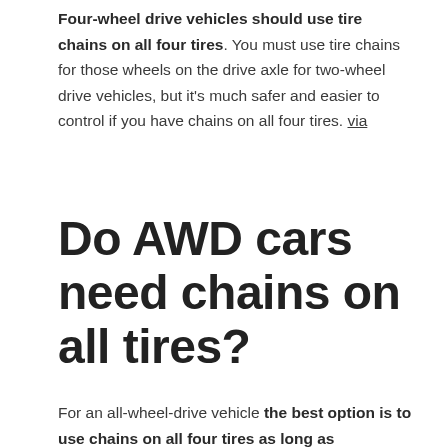Four-wheel drive vehicles should use tire chains on all four tires. You must use tire chains for those wheels on the drive axle for two-wheel drive vehicles, but it's much safer and easier to control if you have chains on all four tires. via
Do AWD cars need chains on all tires?
For an all-wheel-drive vehicle the best option is to use chains on all four tires as long as